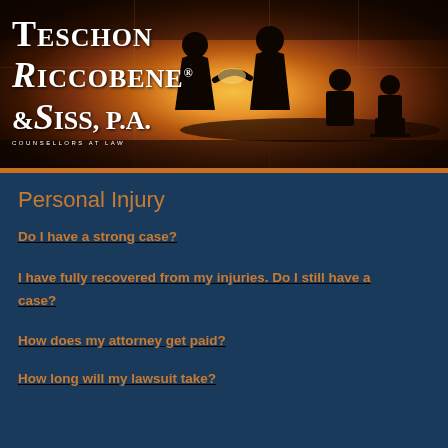[Figure (photo): Header image with silhouettes of business/legal professionals shaking hands at a table against a warm sunset/backlit background, with the law firm logo overlay in the top-left corner.]
Personal Injury
Do I have a strong case?
I have fully recovered from my injuries. Do I still have a case?
How does my attorney get paid?
How long will my lawsuit take?